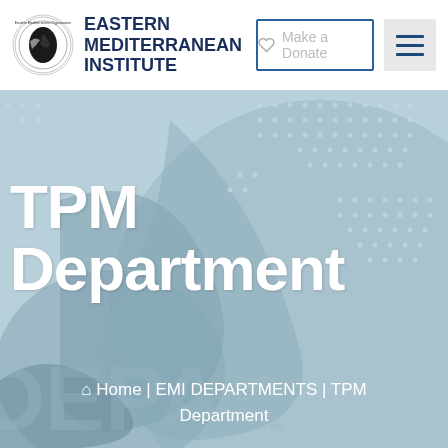[Figure (logo): Eastern Mediterranean Institute circular logo with globe/figure motif]
EASTERN MEDITERRANEAN INSTITUTE
Make a Donate
[Figure (illustration): Hero background with light blue tones, dot grid pattern, and large decorative globe/map silhouette shapes]
TPM Department
Home | EMI DEPARTMENTS | TPM Department